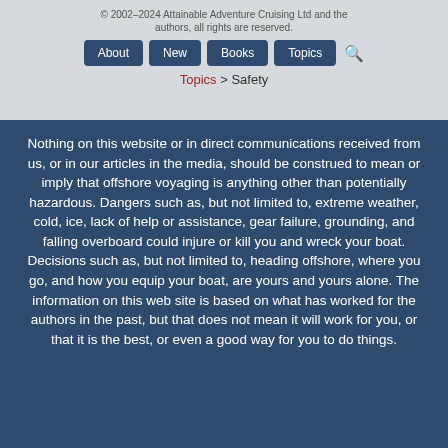© 2002–2024 Attainable Adventure Cruising Ltd and the authors, all rights are reserved.
Topics > Safety
Nothing on this website or in direct communications received from us, or in our articles in the media, should be construed to mean or imply that offshore voyaging is anything other than potentially hazardous. Dangers such as, but not limited to, extreme weather, cold, ice, lack of help or assistance, gear failure, grounding, and falling overboard could injure or kill you and wreck your boat. Decisions such as, but not limited to, heading offshore, where you go, and how you equip your boat, are yours and yours alone. The information on this web site is based on what has worked for the authors in the past, but that does not mean it will work for you, or that it is the best, or even a good way for you to do things.